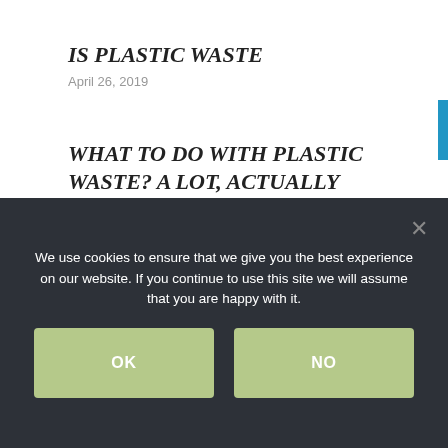IS PLASTIC WASTE
April 26, 2019
WHAT TO DO WITH PLASTIC WASTE? A LOT, ACTUALLY
April 23, 2020
Topics we care about
We use cookies to ensure that we give you the best experience on our website. If you continue to use this site we will assume that you are happy with it.